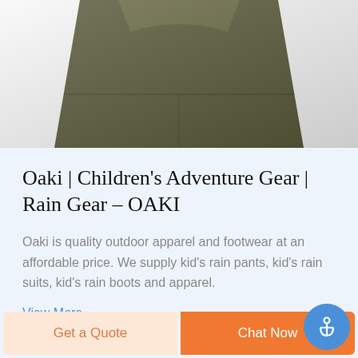[Figure (photo): Close-up photo of an olive/army green children's rain garment (jacket or suit) with seam detail visible, shown on white background, cropped at top.]
Oaki | Children's Adventure Gear | Rain Gear – OAKI
Oaki is quality outdoor apparel and footwear at an affordable price. We supply kid's rain pants, kid's rain suits, kid's rain boots and apparel.
View More
Get a Quote
Chat Now